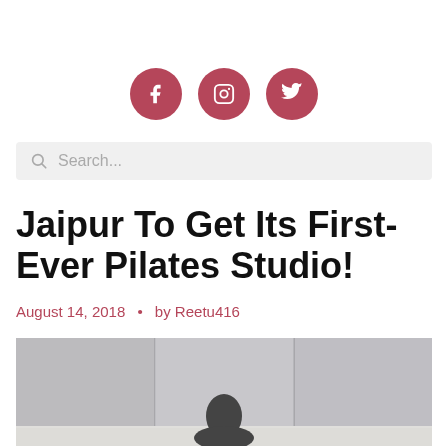[Figure (infographic): Three social media icon circles (Facebook, Instagram, Twitter) in dark rose/mauve color, centered horizontally]
[Figure (screenshot): Search bar with magnifying glass icon and placeholder text 'Search...' on light gray background]
Jaipur To Get Its First-Ever Pilates Studio!
August 14, 2018  •  by Reetu416
[Figure (photo): Partial photo of a pilates studio with a person visible at the bottom center, gray studio background with vertical panel divisions]